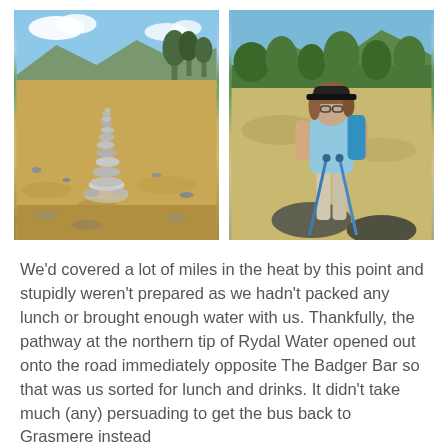[Figure (photo): Two side-by-side outdoor photos. Left: a cairn (stacked stones) on a rocky hillside with mountains and trees in the background under a partly cloudy sky. Right: a young person in a light blue t-shirt and beige trousers, wearing a cap and glasses, holding walking poles, standing on rocks with forested mountains behind them.]
We'd covered a lot of miles in the heat by this point and stupidly weren't prepared as we hadn't packed any lunch or brought enough water with us. Thankfully, the pathway at the northern tip of Rydal Water opened out onto the road immediately opposite The Badger Bar so that was us sorted for lunch and drinks. It didn't take much (any) persuading to get the bus back to Grasmere instead